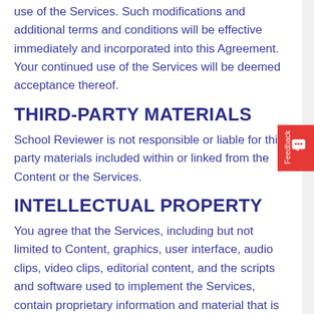use of the Services. Such modifications and additional terms and conditions will be effective immediately and incorporated into this Agreement. Your continued use of the Services will be deemed acceptance thereof.
THIRD-PARTY MATERIALS
School Reviewer is not responsible or liable for third party materials included within or linked from the Content or the Services.
INTELLECTUAL PROPERTY
You agree that the Services, including but not limited to Content, graphics, user interface, audio clips, video clips, editorial content, and the scripts and software used to implement the Services, contain proprietary information and material that is owned by School